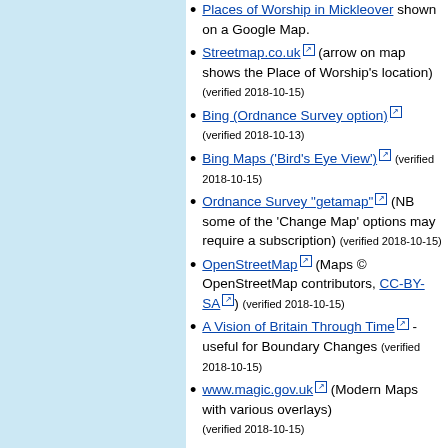Places of Worship in Mickleover shown on a Google Map.
Streetmap.co.uk (arrow on map shows the Place of Worship's location) (verified 2018-10-15)
Bing (Ordnance Survey option) (verified 2018-10-13)
Bing Maps ('Bird's Eye View') (verified 2018-10-15)
Ordnance Survey "getamap" (NB some of the 'Change Map' options may require a subscription) (verified 2018-10-15)
OpenStreetMap (Maps © OpenStreetMap contributors, CC-BY-SA) (verified 2018-10-15)
A Vision of Britain Through Time - useful for Boundary Changes (verified 2018-10-15)
www.magic.gov.uk (Modern Maps with various overlays) (verified 2018-10-15)
Resources